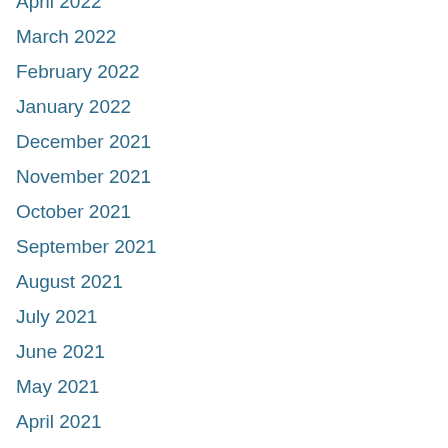April 2022
March 2022
February 2022
January 2022
December 2021
November 2021
October 2021
September 2021
August 2021
July 2021
June 2021
May 2021
April 2021
March 2021
February 2021
January 2021
December 2020
November 2020